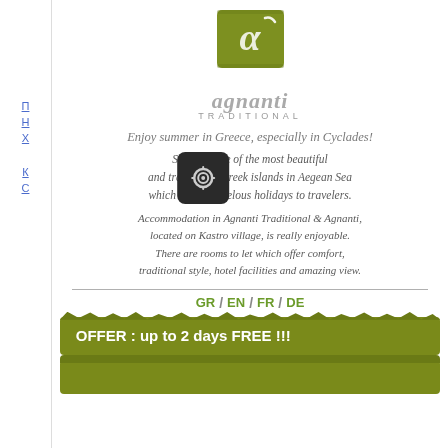[Figure (logo): Agnanti Traditional logo - olive green square with stylized alpha symbol and grey italic text reading 'agnanti TRADITIONAL']
Enjoy summer in Greece, especially in Cyclades!
Sifnos is one of the most beautiful and traditional Greek islands in Aegean Sea which offer marvelous holidays to travelers.
Accommodation in Agnanti Traditional & Agnanti, located on Kastro village, is really enjoyable. There are rooms to let which offer comfort, traditional style, hotel facilities and amazing view.
GR / EN / FR / DE
OFFER : up to 2 days FREE !!!